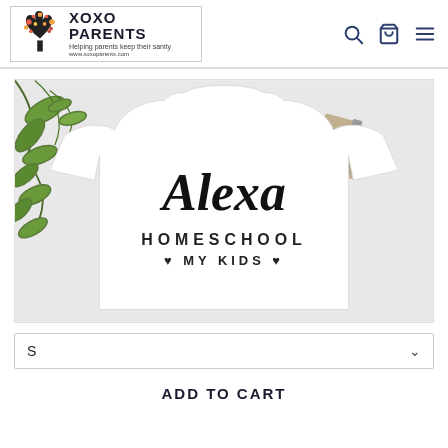XOXO PARENTS - Helping parents keep their sanity - www.xoxoparents.com
[Figure (photo): White t-shirt with script text 'Alexa HOMESCHOOL ♥MY KIDS♥' laid flat on a gray surface with green plant leaves and a vintage camera in background]
S
ADD TO CART